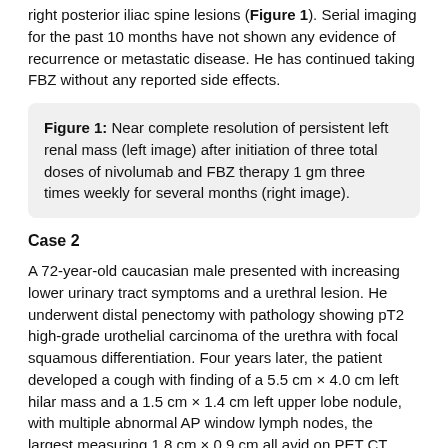right posterior iliac spine lesions (Figure 1). Serial imaging for the past 10 months have not shown any evidence of recurrence or metastatic disease. He has continued taking FBZ without any reported side effects.
Figure 1: Near complete resolution of persistent left renal mass (left image) after initiation of three total doses of nivolumab and FBZ therapy 1 gm three times weekly for several months (right image).
Case 2
A 72-year-old caucasian male presented with increasing lower urinary tract symptoms and a urethral lesion. He underwent distal penectomy with pathology showing pT2 high-grade urothelial carcinoma of the urethra with focal squamous differentiation. Four years later, the patient developed a cough with finding of a 5.5 cm × 4.0 cm left hilar mass and a 1.5 cm × 1.4 cm left upper lobe nodule, with multiple abnormal AP window lymph nodes, the largest measuring 1.8 cm × 0.9 cm all avid on PET CT.